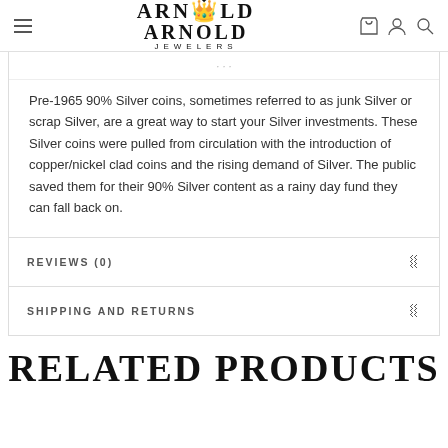ARNOLD JEWELERS
Pre-1965 90% Silver coins, sometimes referred to as junk Silver or scrap Silver, are a great way to start your Silver investments. These Silver coins were pulled from circulation with the introduction of copper/nickel clad coins and the rising demand of Silver. The public saved them for their 90% Silver content as a rainy day fund they can fall back on.
REVIEWS (0)
SHIPPING AND RETURNS
RELATED PRODUCTS